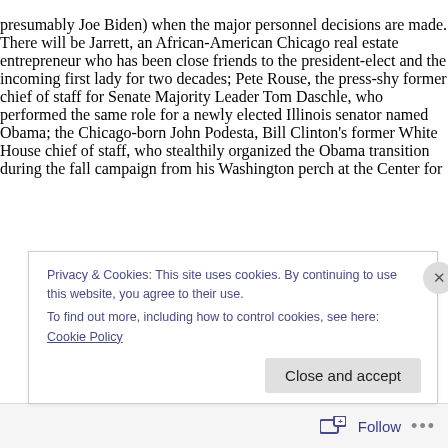presumably Joe Biden) when the major personnel decisions are made. There will be Jarrett, an African-American Chicago real estate entrepreneur who has been close friends to the president-elect and the incoming first lady for two decades; Pete Rouse, the press-shy former chief of staff for Senate Majority Leader Tom Daschle, who performed the same role for a newly elected Illinois senator named Obama; the Chicago-born John Podesta, Bill Clinton's former White House chief of staff, who stealthily organized the Obama transition during the fall campaign from his Washington perch at the Center for
Privacy & Cookies: This site uses cookies. By continuing to use this website, you agree to their use.
To find out more, including how to control cookies, see here: Cookie Policy
Close and accept
Follow ...